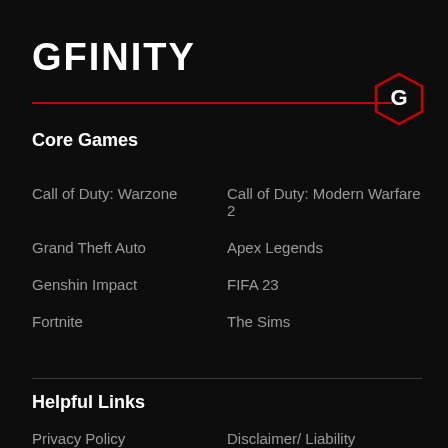GFINITY
[Figure (logo): Gfinity hexagon logo badge with white G letter on dark red hexagon outline]
Core Games
Call of Duty: Warzone
Call of Duty: Modern Warfare 2
Grand Theft Auto
Apex Legends
Genshin Impact
FIFA 23
Fortnite
The Sims
Helpful Links
Privacy Policy
Disclaimer/ Liability